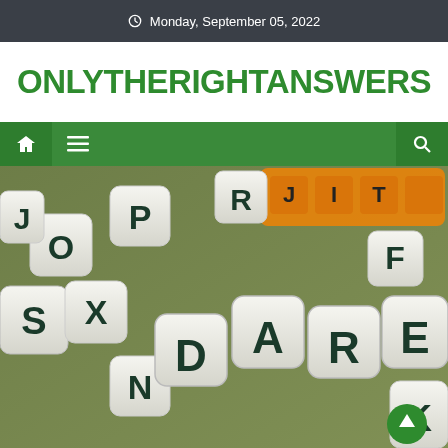Monday, September 05, 2022
ONLYTHERIGHTANSWERS
[Figure (illustration): Navigation bar with home icon, hamburger menu icon, and search icon on a green background]
[Figure (photo): Letter dice scattered on a green surface, with the word DARE spelled out in the center, and an orange Scrabble tile holder in the background. A green scroll-to-top button is visible in the bottom right corner.]